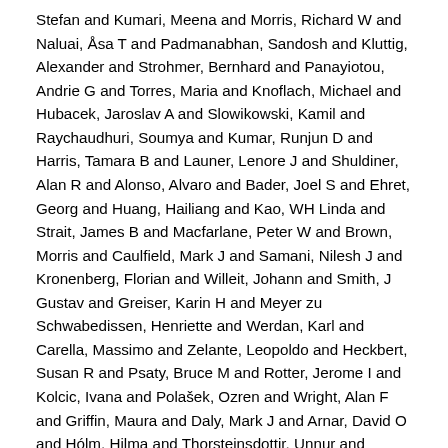Stefan and Kumari, Meena and Morris, Richard W and Naluai, Åsa T and Padmanabhan, Sandosh and Kluttig, Alexander and Strohmer, Bernhard and Panayiotou, Andrie G and Torres, Maria and Knoflach, Michael and Hubacek, Jaroslav A and Slowikowski, Kamil and Raychaudhuri, Soumya and Kumar, Runjun D and Harris, Tamara B and Launer, Lenore J and Shuldiner, Alan R and Alonso, Alvaro and Bader, Joel S and Ehret, Georg and Huang, Hailiang and Kao, WH Linda and Strait, James B and Macfarlane, Peter W and Brown, Morris and Caulfield, Mark J and Samani, Nilesh J and Kronenberg, Florian and Willeit, Johann and Smith, J Gustav and Greiser, Karin H and Meyer zu Schwabedissen, Henriette and Werdan, Karl and Carella, Massimo and Zelante, Leopoldo and Heckbert, Susan R and Psaty, Bruce M and Rotter, Jerome I and Kolcic, Ivana and Polašek, Ozren and Wright, Alan F and Griffin, Maura and Daly, Mark J and Arnar, David O and Hólm, Hilma and Thorsteinsdottir, Unnur and Denny, Joshua C and Roden, Dan M and Zuvich, Rebecca L and Emilsson, Valur and Plump, Andrew S and Larson, Martin G and O'Donnell, Christopher J and Yin, Xiaoyan and Bobbo, Marco and D'Adamo, Adamo P and Iorio, Annamaria and Sinagra, Gianfranco and Carracedo, Angel and Cummings, Steven R and Nalls, Michael A and Jula, Antti and Kontula, Kimmo K and